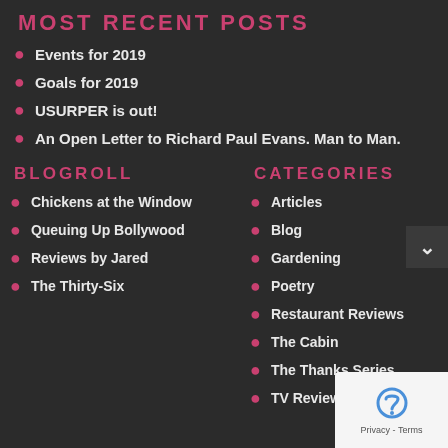MOST RECENT POSTS
Events for 2019
Goals for 2019
USURPER is out!
An Open Letter to Richard Paul Evans. Man to Man.
BLOGROLL
CATEGORIES
Chickens at the Window
Articles
Queuing Up Bollywood
Blog
Reviews by Jared
Gardening
The Thirty-Six
Poetry
Restaurant Reviews
The Cabin
The Thanks Series
TV Review